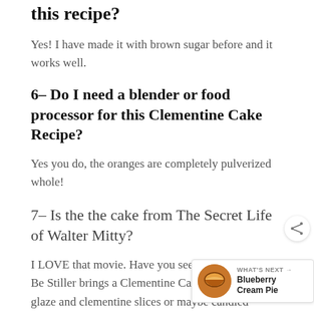this recipe?
Yes! I have made it with brown sugar before and it works well.
6– Do I need a blender or food processor for this Clementine Cake Recipe?
Yes you do, the oranges are completely pulverized whole!
7– Is the the cake from The Secret Life of Walter Mitty?
I LOVE that movie. Have you seen it? In the movie Be Stiller brings a Clementine Cake with a white glaze and clementine slices or maybe candied clementi… you're also a fan of that flick make the cake, glaze it, but instead of the whipped cream add powdered sugar (icing
[Figure (other): What's Next widget showing Blueberry Cream Pie with a circular pie photo thumbnail]